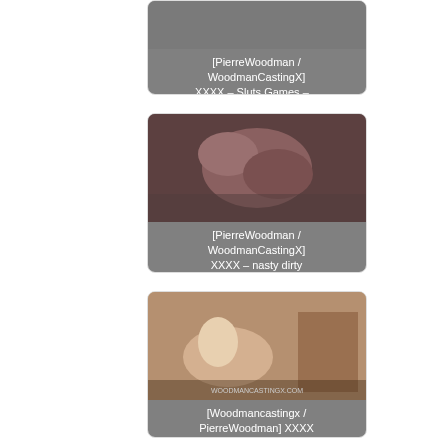[Figure (photo): Partial card at top: thumbnail image with overlay text '[PierreWoodman / WoodmanCastingX] XXXX – Sluts Games –...']
[Figure (photo): Card with close-up thumbnail image and overlay text '[PierreWoodman / WoodmanCastingX] XXXX – nasty dirty little...']
[Figure (photo): Card with blonde woman thumbnail image and overlay text '[Woodmancastingx / PierreWoodman] XXXX First Time Dred...']